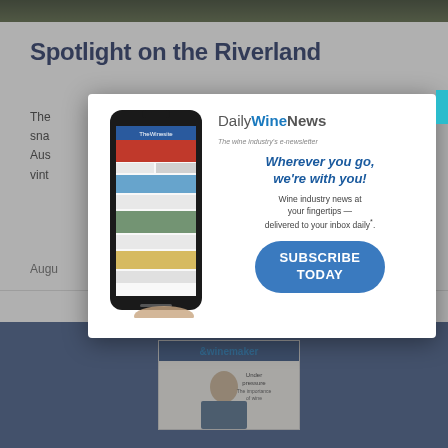[Figure (photo): Dark road/landscape photo at top of page]
Spotlight on the Riverland
The ... e sna... Aus... vint...
ORE »
Augu...
[Figure (photo): Blue section with &winemaker magazine cover showing a man under pressure]
[Figure (screenshot): DailyWineNews popup advertisement modal. Shows a phone with the DailyWineNews website, the DailyWineNews logo, tagline 'Wherever you go, we're with you!', description 'Wine industry news at your fingertips — delivered to your inbox daily.', and a blue SUBSCRIBE TODAY button. Modal has an X close button in cyan.]